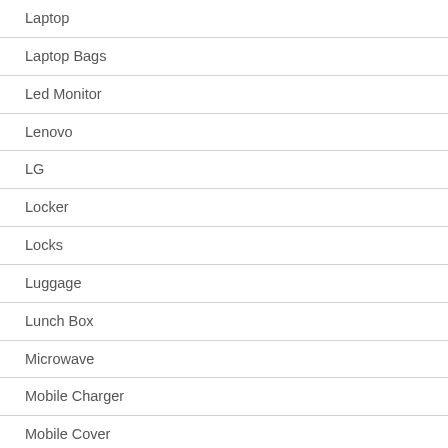Laptop
Laptop Bags
Led Monitor
Lenovo
LG
Locker
Locks
Luggage
Lunch Box
Microwave
Mobile Charger
Mobile Cover
Mobile Phone
Mobile Speakers